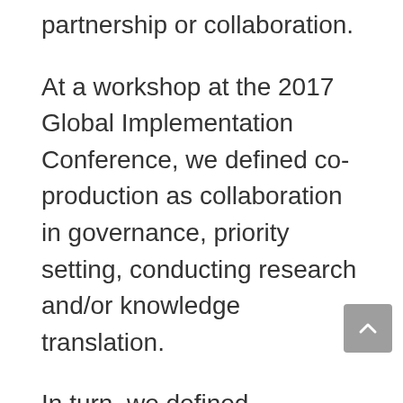partnership or collaboration.
At a workshop at the 2017 Global Implementation Conference, we defined co-production as collaboration in governance, priority setting, conducting research and/or knowledge translation.
In turn, we defined collaboration according to the International Association of Public Participation's public participation spectrum (PDF 753KB).
We noted that co-production involves researchers and others with a stake in the project: citizens, patients, health care providers, and/or health care decision- and